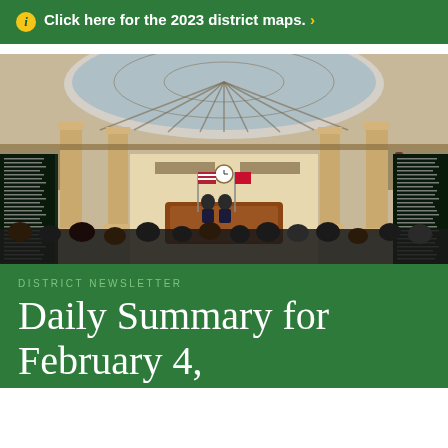Click here for the 2023 district maps. >
[Figure (photo): Interior of a legislative chamber with ornate columns, a large domed skylight with glass panels, balcony seating with people, legislators seated, and a speaker's podium at the front with American and state flags. Electronic voting boards line the walls.]
DISTRICT NEWSLETTER
Daily Summary for February 4, 2019